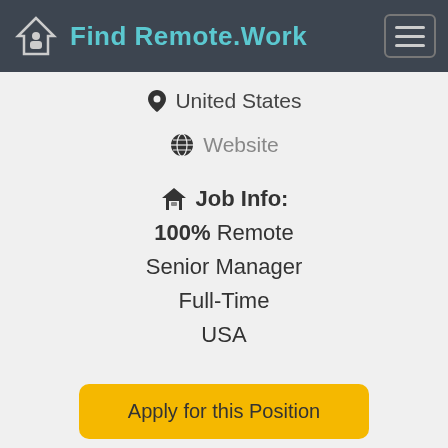Find Remote.Work
United States
Website
Job Info:
100% Remote
Senior Manager
Full-Time
USA
Apply for this Position